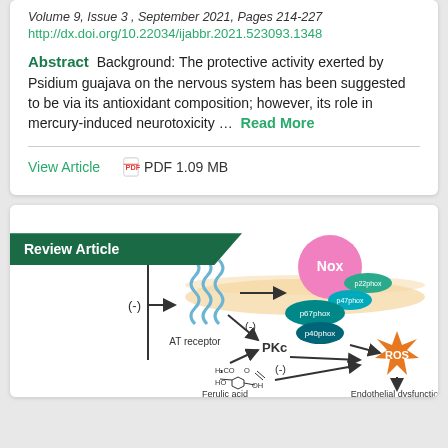Volume 9, Issue 3 , September 2021, Pages 214-227
http://dx.doi.org/10.22034/ijabbr.2021.523093.1348
Abstract   Background: The protective activity exerted by Psidium guajava on the nervous system has been suggested to be via its antioxidant composition; however, its role in mercury-induced neurotoxicity … Read More
View Article    PDF 1.09 MB
[Figure (schematic): Biochemical pathway diagram labeled 'Review Article' showing Ferulic acid inhibiting AT receptor, PKc, and NADPH oxidase (Nox) complex components (p67phox, p40phox, p47phox, p22phox) leading to inhibition of ROS and subsequent Endothelial dysfunction with G-II labeled at top.]